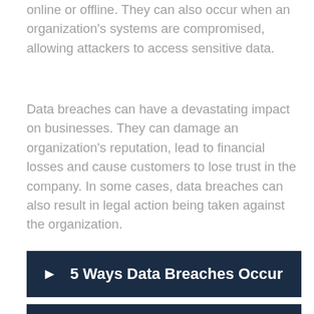online or offline. They can also occur when an organization's systems are compromised, allowing attackers to access sensitive data.
Data breaches can have a devastating impact on businesses. They can damage an organization's reputation, lead to financial losses and cause customers to lose trust in the company. In some cases, data breaches can also result in legal action being taken against the organization.
▶  5 Ways Data Breaches Occur